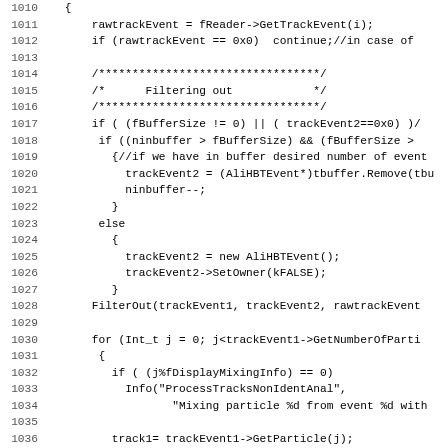[Figure (screenshot): Source code listing showing C++ code lines 1010-1042, with line numbers on the left and code on the right in monospace font.]